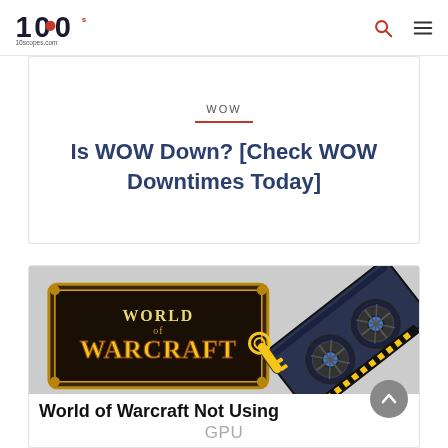10scopes.com — site navigation header with logo, search icon, and menu icon
WOW
Is WOW Down? [Check WOW Downtimes Today]
[Figure (illustration): World of Warcraft logo with a GPU graphic overlay. Text below reads: World of Warcraft Not Using GPU]
World of Warcraft Not Using GPU